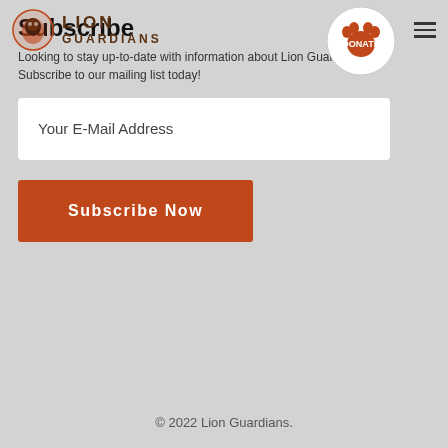LION GUARDIANS — navigation header with logo and donate badge
Subscribe
Looking to stay up-to-date with information about Lion Guardians? Subscribe to our mailing list today!
Your E-Mail Address
Subscribe Now
© 2022 Lion Guardians.